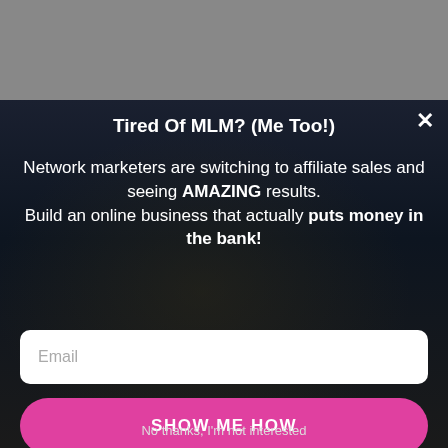[Figure (screenshot): Gray background area at top of page representing a dimmed webpage behind a modal popup]
Tired Of MLM? (Me Too!)
Network marketers are switching to affiliate sales and seeing AMAZING results. Build an online business that actually puts money in the bank!
Email
SHOW ME HOW
No thanks, I'm not interested